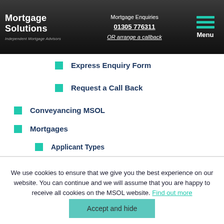Mortgage Solutions - Independent Mortgage Advisors | Mortgage Enquiries 01305 776311 OR arrange a callback | Menu
Express Enquiry Form
Request a Call Back
Conveyancing MSOL
Mortgages
Applicant Types
We use cookies to ensure that we give you the best experience on our website. You can continue and we will assume that you are happy to receive all cookies on the MSOL website. Find out more
Accept and hide